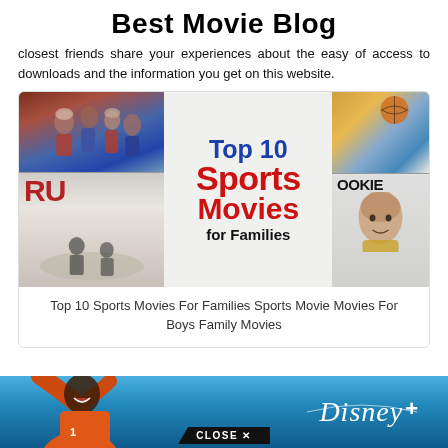Best Movie Blog
closest friends share your experiences about the easy of access to downloads and the information you get on this website.
[Figure (illustration): Promotional image for Top 10 Sports Movies For Families, showing movie posters on left and right, with large blue and red text in center reading 'Top 10 Sports Movies for Families']
Top 10 Sports Movies For Families Sports Movie Movies For Boys Family Movies
[Figure (infographic): Disney+ promotional banner at bottom of page with a person in orange sports jersey, Disney+ logo text in white, and a CLOSE X button]